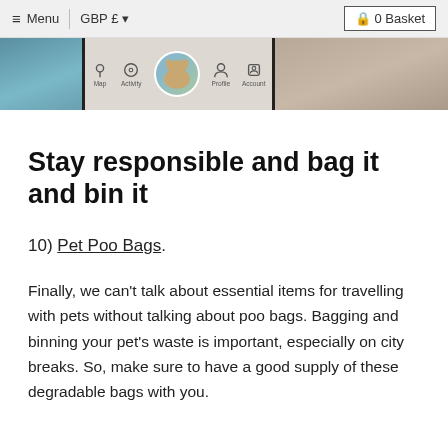Menu | GBP £ ▼   0 Basket
[Figure (photo): Hero banner image strip with navigation icons including map, activity, a circular dog photo, profile, and account icons. Left side shows blue water/coastal scene, right side shows a pet (dog paws) on rocky ground.]
Stay responsible and bag it and bin it
10) Pet Poo Bags.
Finally, we can't talk about essential items for travelling with pets without talking about poo bags. Bagging and binning your pet's waste is important, especially on city breaks. So, make sure to have a good supply of these degradable bags with you.